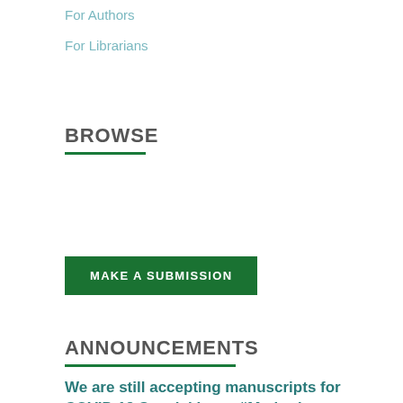For Authors
For Librarians
BROWSE
MAKE A SUBMISSION
ANNOUNCEMENTS
We are still accepting manuscripts for COVID 19 Special Issue “Methods to Facilitate SARS CoV 2 and COVID 19 Research”
April 11, 2021